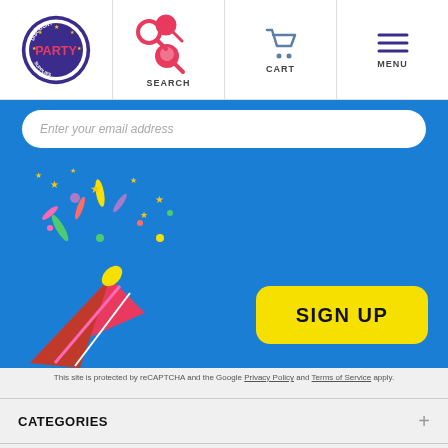[Figure (logo): Discount Party Supplies circular logo with stars]
SEARCH
CART
MENU
[Figure (screenshot): Blue banner with email signup field, party popper confetti illustration, and yellow SIGN UP button]
This site is protected by reCAPTCHA and the Google Privacy Policy and Terms of Service apply.
CATEGORIES
INFORMATION
CUSTOMER SERVICE
4.9 ★★★★★ Google Customer Reviews
AY CONNECTED